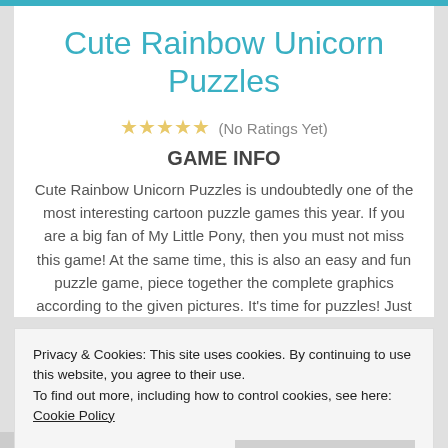Cute Rainbow Unicorn Puzzles
★★★★★ (No Ratings Yet)
GAME INFO
Cute Rainbow Unicorn Puzzles is undoubtedly one of the most interesting cartoon puzzle games this year. If you are a big fan of My Little Pony, then you must not miss this game! At the same time, this is also an easy and fun puzzle game, piece together the complete graphics according to the given pictures. It's time for puzzles! Just
Privacy & Cookies: This site uses cookies. By continuing to use this website, you agree to their use.
To find out more, including how to control cookies, see here: Cookie Policy
Close and accept